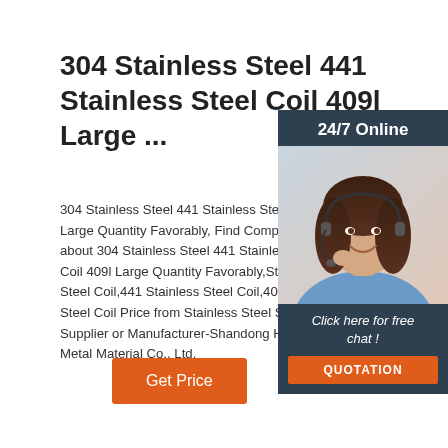304 Stainless Steel 441 Stainless Steel Coil 409l Large ...
304 Stainless Steel 441 Stainless Steel Coil Large Quantity Favorably, Find Complete about 304 Stainless Steel 441 Stainless Steel Coil 409l Large Quantity Favorably,Stainless Steel Coil,441 Stainless Steel Coil,403 Stainless Steel Coil Price from Stainless Steel Strips Supplier or Manufacturer-Shandong Hong Metal Material Co., Ltd.
[Figure (photo): Customer service representative woman with headset, smiling, with '24/7 Online' text at top and 'Click here for free chat!' text with orange QUOTATION button below]
Get Price